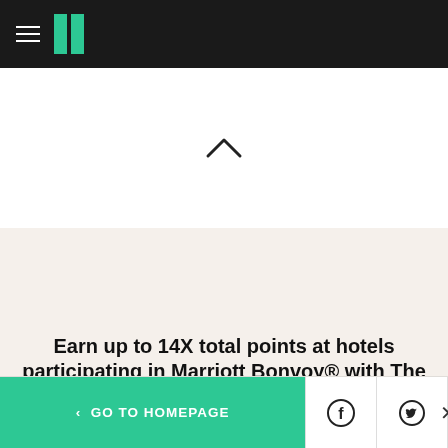HuffPost navigation bar with hamburger menu and logo
[Figure (screenshot): Upward chevron/caret symbol indicating collapsible content above article]
[Figure (screenshot): Large beige/cream colored empty advertisement or content area]
Earn up to 14X total points at hotels participating in Marriott Bonvoy® with The Marriott Bonvoy Bold®
< GO TO HOMEPAGE | Facebook share button | Twitter share button | Close (X)